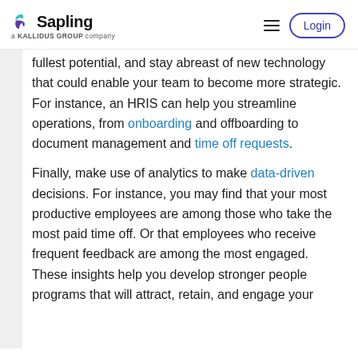Sapling — a KALLIDUS GROUP company
fullest potential, and stay abreast of new technology that could enable your team to become more strategic. For instance, an HRIS can help you streamline operations, from onboarding and offboarding to document management and time off requests.
Finally, make use of analytics to make data-driven decisions. For instance, you may find that your most productive employees are among those who take the most paid time off. Or that employees who receive frequent feedback are among the most engaged. These insights help you develop stronger people programs that will attract, retain, and engage your